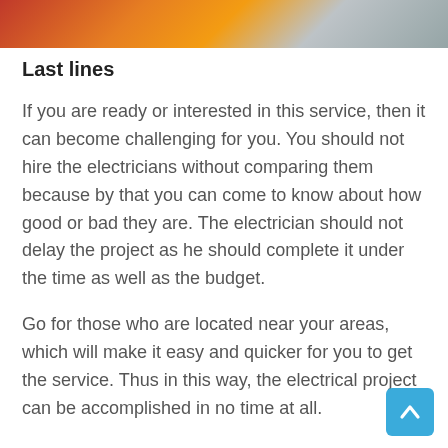[Figure (photo): Partial photo strip at top of page showing people, possibly electricians or workers, cropped at top edge.]
Last lines
If you are ready or interested in this service, then it can become challenging for you. You should not hire the electricians without comparing them because by that you can come to know about how good or bad they are. The electrician should not delay the project as he should complete it under the time as well as the budget.
Go for those who are located near your areas, which will make it easy and quicker for you to get the service. Thus in this way, the electrical project can be accomplished in no time at all.